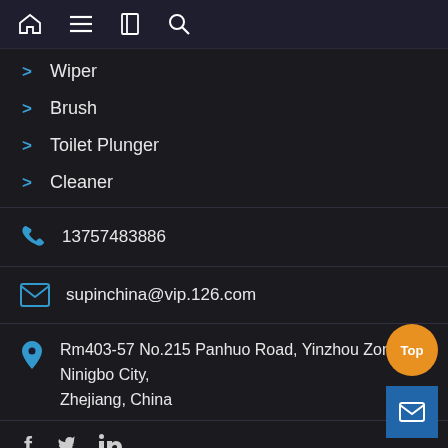Navigation bar with home, menu, bookmark, and search icons
Wiper
Brush
Toilet Plunger
Cleaner
13757483886
supinchina@vip.126.com
Rm403-57 No.215 Panhuo Road, Yinzhou Zone, Ninigbo City, Zhejiang, China
Social icons: Facebook, Twitter, LinkedIn